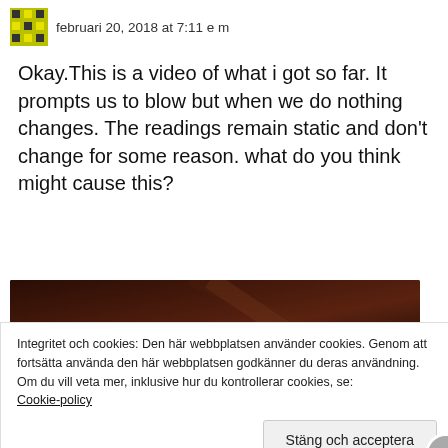februari 20, 2018 at 7:11 e m
Okay.This is a video of what i got so far. It prompts us to blow but when we do nothing changes. The readings remain static and don't change for some reason. what do you think might cause this?
[Figure (screenshot): Video thumbnail titled 'ketosense 1' with a dark brown background and an X close button]
Integritet och cookies: Den här webbplatsen använder cookies. Genom att fortsätta använda den här webbplatsen godkänner du deras användning.
Om du vill veta mer, inklusive hur du kontrollerar cookies, se: Cookie-policy
Stäng och acceptera